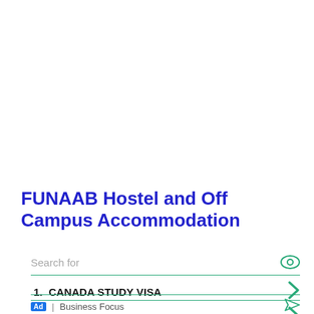FUNAAB Hostel and Off Campus Accommodation
Search for
1.  CANADA STUDY VISA
2.  HOW TO GET A TOURIST VISA
Ad | Business Focus